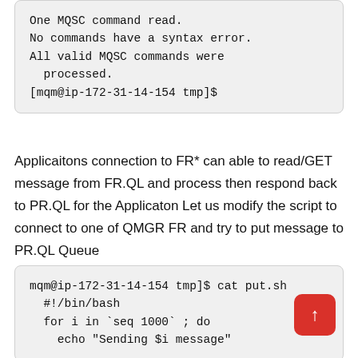One MQSC command read.
No commands have a syntax error.
All valid MQSC commands were processed.
[mqm@ip-172-31-14-154 tmp]$
Applicaitons connection to FR* can able to read/GET message from FR.QL and process then respond back to PR.QL for the Applicaton Let us modify the script to connect to one of QMGR FR and try to put message to PR.QL Queue
mqm@ip-172-31-14-154 tmp]$ cat put.sh
  #!/bin/bash
  for i in `seq 1000` ; do
    echo "Sending $i message"